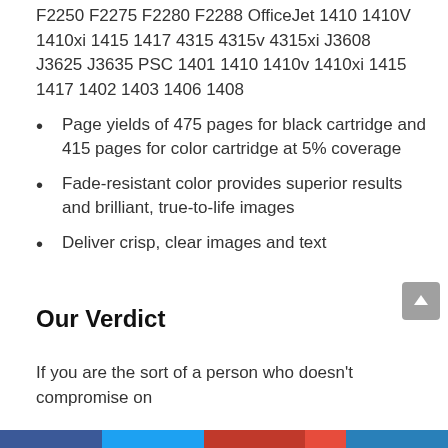F2250 F2275 F2280 F2288 OfficeJet 1410 1410V 1410xi 1415 1417 4315 4315v 4315xi J3608 J3625 J3635 PSC 1401 1410 1410v 1410xi 1415 1417 1402 1403 1406 1408
Page yields of 475 pages for black cartridge and 415 pages for color cartridge at 5% coverage
Fade-resistant color provides superior results and brilliant, true-to-life images
Deliver crisp, clear images and text
Our Verdict
If you are the sort of a person who doesn't compromise on